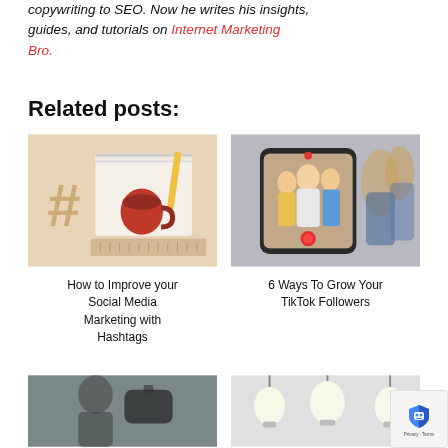copywriting to SEO. Now he writes his insights, guides, and tutorials on Internet Marketing Bro.
Related posts:
[Figure (photo): Flat lay of a hashtag symbol, a red cup of tea, and a spiral notebook on a beige background]
How to Improve your Social Media Marketing with Hashtags
[Figure (photo): A smartphone filming three young women dancing and posing in a TikTok video]
6 Ways To Grow Your TikTok Followers
[Figure (photo): A person in front of a camera or microphone (blurred/partial)]
[Figure (photo): Hanging light bulbs on a white background (partial view)]